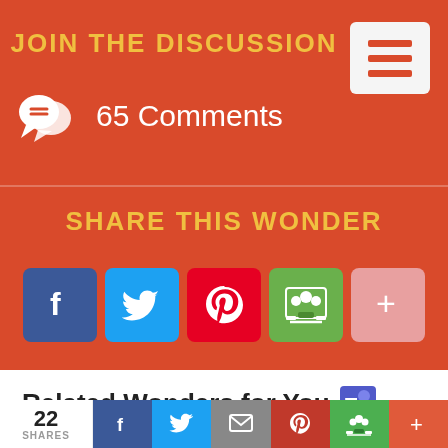JOIN THE DISCUSSION
65 Comments
SHARE THIS WONDER
[Figure (infographic): Social share buttons: Facebook, Twitter, Pinterest, Google Classroom, More (+)]
Related Wonders for You
[Figure (infographic): Bottom share bar with 22 shares count and social buttons: Facebook, Twitter, Email, Pinterest, Google Classroom, More (+)]